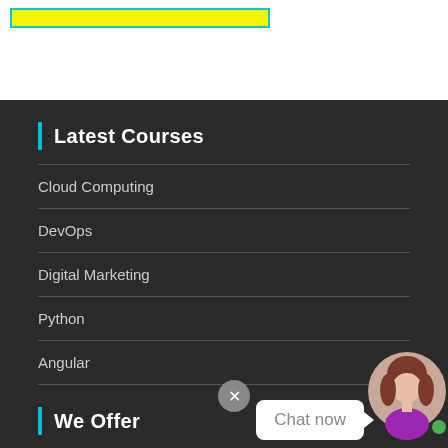[Figure (other): Yellow highlighted box with cyan border at the top of the page]
Latest Courses
Cloud Computing
DevOps
Digital Marketing
Python
Angular
We Offer
[Figure (illustration): Chat now overlay with close button, chat bubble saying 'Chat now', and avatar of a woman with green online indicator]
LIVE Online Training